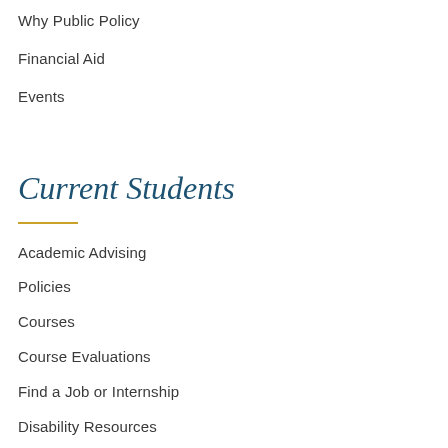Why Public Policy
Financial Aid
Events
Current Students
Academic Advising
Policies
Courses
Course Evaluations
Find a Job or Internship
Disability Resources